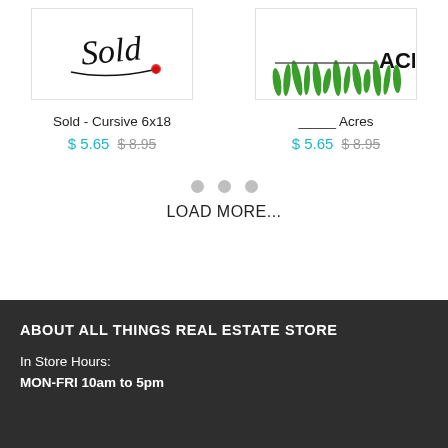[Figure (illustration): Product image: cursive 'Sold' text with red heart on white background with light border]
Sold - Cursive 6x18
$ 5.65  $ 8.95
[Figure (illustration): Product image: '_____ Acres' sign with green grass illustration]
_____ Acres
$ 5.65  $ 8.95
LOAD MORE...
ABOUT ALL THINGS REAL ESTATE STORE
In Store Hours:
MON-FRI 10am to 5pm